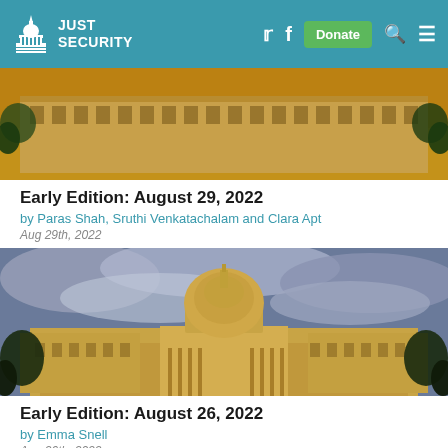Just Security
[Figure (photo): Aerial/side view of the US Capitol building exterior at golden hour]
Early Edition: August 29, 2022
by Paras Shah, Sruthi Venkatachalam and Clara Apt
Aug 29th, 2022
[Figure (photo): Front view of the US Capitol building dome at dusk with dramatic clouds]
Early Edition: August 26, 2022
by Emma Snell
Aug 26th, 2022